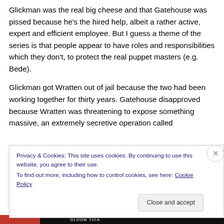Glickman was the real big cheese and that Gatehouse was pissed because he's the hired help, albeit a rather active, expert and efficient employee. But I guess a theme of the series is that people appear to have roles and responsibilities which they don't, to protect the real puppet masters (e.g. Bede).
Glickman got Wratten out of jail because the two had been working together for thirty years. Gatehouse disapproved because Wratten was threatening to expose something massive, an extremely secretive operation called
Privacy & Cookies: This site uses cookies. By continuing to use this website, you agree to their use.
To find out more, including how to control cookies, see here: Cookie Policy
Close and accept